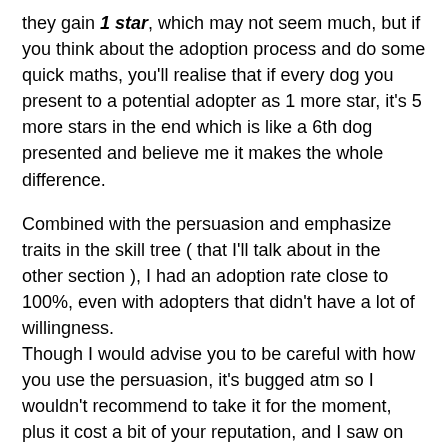they gain 1 star, which may not seem much, but if you think about the adoption process and do some quick maths, you'll realise that if every dog you present to a potential adopter as 1 more star, it's 5 more stars in the end which is like a 6th dog presented and believe me it makes the whole difference.
Combined with the persuasion and emphasize traits in the skill tree ( that I'll talk about in the other section ), I had an adoption rate close to 100%, even with adopters that didn't have a lot of willingness.
Though I would advise you to be careful with how you use the persuasion, it's bugged atm so I wouldn't recommend to take it for the moment, plus it cost a bit of your reputation, and I saw on barkbook that an adopter I persuaded was regretting their decision so I advise you a bit of caution using it.
But most of the time, with only vaccinated dogs I can get to an adoption easily without needing persuasion or emphasize traits.
If you have questions about the farming/strategy of vaccination...